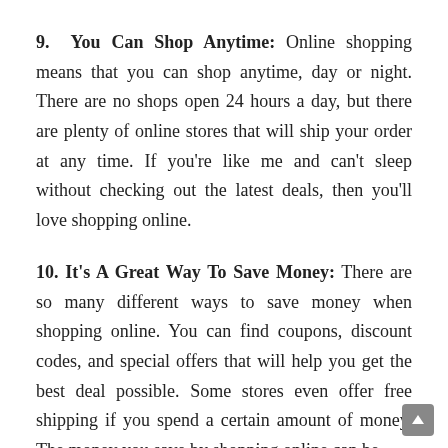9. You Can Shop Anytime: Online shopping means that you can shop anytime, day or night. There are no shops open 24 hours a day, but there are plenty of online stores that will ship your order at any time. If you're like me and can't sleep without checking out the latest deals, then you'll love shopping online.
10. It's A Great Way To Save Money: There are so many different ways to save money when shopping online. You can find coupons, discount codes, and special offers that will help you get the best deal possible. Some stores even offer free shipping if you spend a certain amount of money. The money you save by shopping online can be